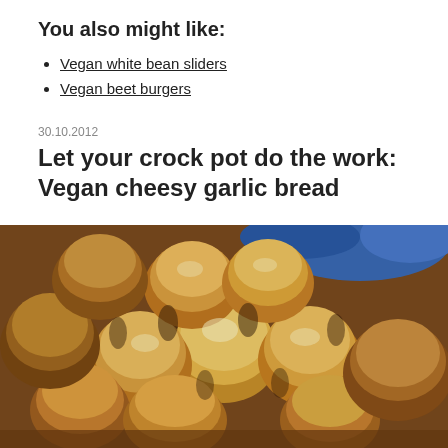You also might like:
Vegan white bean sliders
Vegan beet burgers
30.10.2012
Let your crock pot do the work: Vegan cheesy garlic bread
[Figure (photo): Photo of vegan cheesy garlic bread rolls in a crock pot, golden brown baked dough balls clustered together with a blue cloth visible in the background]